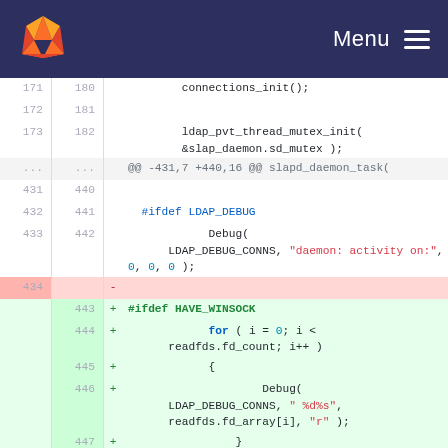GitLab navigation bar with logo and Menu
[Figure (screenshot): Code diff viewer showing changes to a C source file around lines 171-447, with removed line 434 (pink) and added lines 443-447 (green) for HAVE_WINSOCK ifdef block]
171  180        connections_init();
172  181
173  182        ldap_pvt_thread_mutex_init(
             &slap_daemon.sd_mutex );
...  ...  @@ -431,7 +440,16 @@ slapd_daemon_task(
431  440
432  441    #ifdef LDAP_DEBUG
433  442              Debug(
             LDAP_DEBUG_CONNS, "daemon: activity on:", 0, 0, 0 );
434       -
     443  + #ifdef HAVE_WINSOCK
     444  +              for ( i = 0; i <
             readfds.fd_count; i++ )
     445  +            {
     446  +                    Debug(
             LDAP_DEBUG_CONNS, " %d%s",
             readfds.fd_array[i], "r" );
     447  +                }